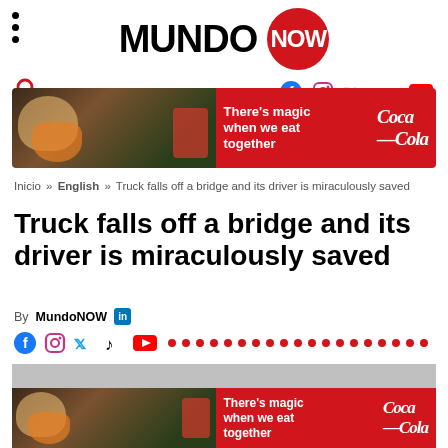MUNDO NOW
[Figure (logo): MundoNOW logo with MUNDO in black bold text and NOW in white text on a red circle]
[Figure (infographic): Social media icons: Facebook, Instagram, Twitter, TikTok, YouTube]
[Figure (photo): Coca-Cola advertisement banner: There's magic when we eat together]
Inicio » English » Truck falls off a bridge and its driver is miraculously saved
Truck falls off a bridge and its driver is miraculously saved
By MundoNOW
[Figure (infographic): Social share icons row: Facebook, Instagram, Twitter, TikTok, YouTube followed by red dots]
[Figure (photo): Article hero image placeholder (gray bar at top) and Coca-Cola advertisement at bottom: There's magic when we eat together]